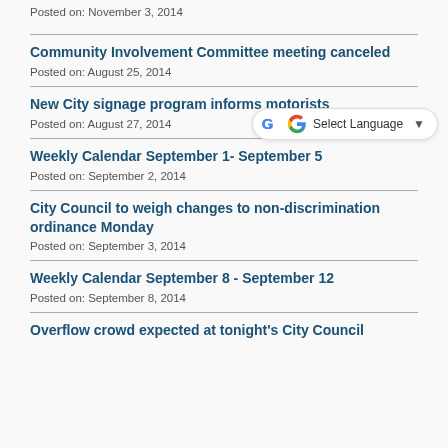Posted on: November 3, 2014
Community Involvement Committee meeting canceled
Posted on: August 25, 2014
New City signage program informs motorists
Posted on: August 27, 2014
Weekly Calendar September 1- September 5
Posted on: September 2, 2014
City Council to weigh changes to non-discrimination ordinance Monday
Posted on: September 3, 2014
Weekly Calendar September 8 - September 12
Posted on: September 8, 2014
Overflow crowd expected at tonight's City Council